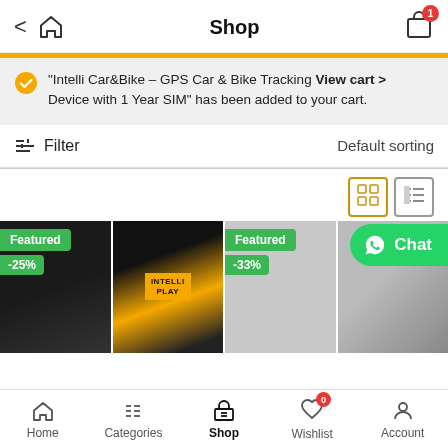Shop
"Intelli Car&Bike – GPS Car & Bike Tracking Device with 1 Year SIM" has been added to your cart.  View cart >
Filter   Default sorting
[Figure (screenshot): Two product cards with Featured and discount badges. Left card shows -25%, right card shows -33%.]
Home   Categories   Shop   Wishlist   Account